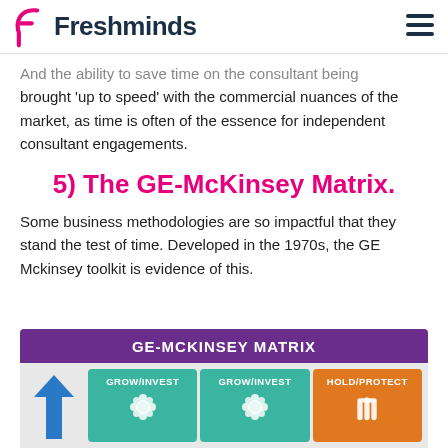Freshminds
And the ability to save time on the consultant being brought 'up to speed' with the commercial nuances of the market, as time is often of the essence for independent consultant engagements.
5) The GE-McKinsey Matrix.
Some business methodologies are so impactful that they stand the test of time. Developed in the 1970s, the GE Mckinsey toolkit is evidence of this.
[Figure (infographic): GE-McKinsey Matrix infographic with purple header and colored cells: two green GROW/INVEST cells with flower icons and one orange HOLD/PROTECT cell with hand icon, plus a blue upward arrow on the left.]